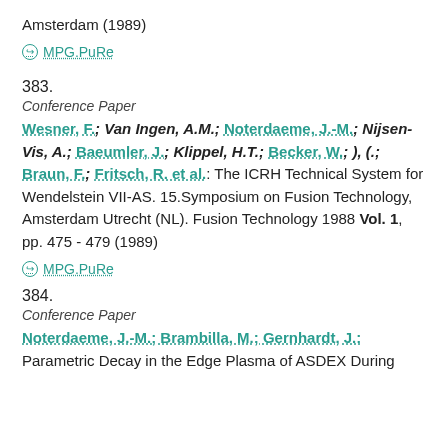Amsterdam (1989)
⊙ MPG.PuRe
383.
Conference Paper
Wesner, F.; Van Ingen, A.M.; Noterdaeme, J.-M.; Nijsen-Vis, A.; Baeumler, J.; Klippel, H.T.; Becker, W.; ), (.; Braun, F.; Fritsch, R. et al.: The ICRH Technical System for Wendelstein VII-AS. 15.Symposium on Fusion Technology, Amsterdam Utrecht (NL). Fusion Technology 1988 Vol. 1, pp. 475 - 479 (1989)
⊙ MPG.PuRe
384.
Conference Paper
Noterdaeme, J.-M.; Brambilla, M.; Gernhardt, J.: Parametric Decay in the Edge Plasma of ASDEX During